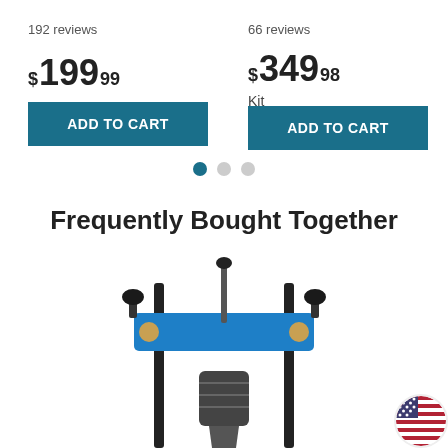192 reviews
$199.99
66 reviews
$349.98
Kit
ADD TO CART
ADD TO CART
[Figure (other): Carousel pagination dots: one filled teal dot and two grey dots]
Frequently Bought Together
[Figure (photo): A blue doweling jig tool with black rods and a drill chuck attachment, shown on white background. A US flag badge is visible in the bottom right corner.]